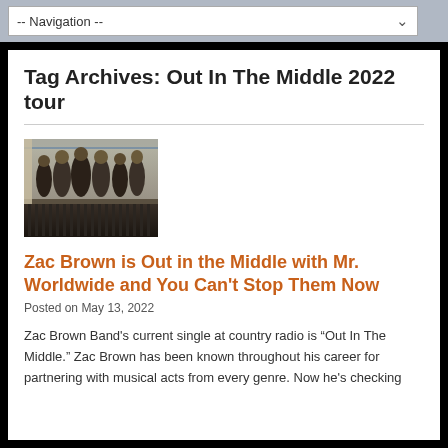-- Navigation --
Tag Archives: Out In The Middle 2022 tour
[Figure (photo): Group photo of Zac Brown Band members standing on a balcony or porch with ornate ironwork railing]
Zac Brown is Out in the Middle with Mr. Worldwide and You Can't Stop Them Now
Posted on May 13, 2022
Zac Brown Band's current single at country radio is “Out In The Middle.” Zac Brown has been known throughout his career for partnering with musical acts from every genre. Now he's checking